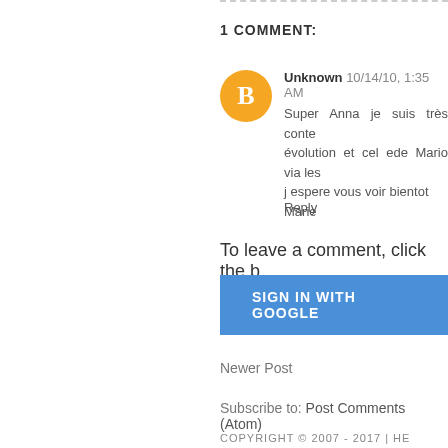1 COMMENT:
Unknown 10/14/10, 1:35 AM
Super Anna je suis très conten évolution et cel ede Mario via les j espere vous voir bientot Marie
Reply
To leave a comment, click the b
SIGN IN WITH GOOGLE
Newer Post
Subscribe to: Post Comments (Atom)
COPYRIGHT © 2007 - 2017 | HE